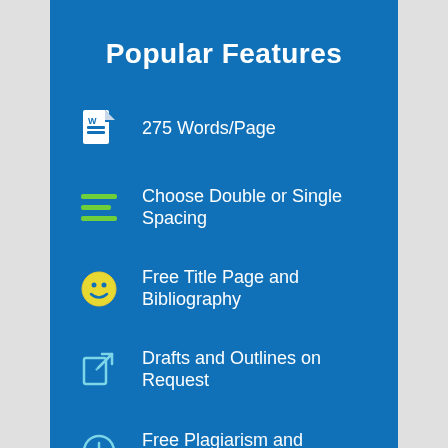Popular Features
275 Words/Page
Choose Double or Single Spacing
Free Title Page and Bibliography
Drafts and Outlines on Request
Free Plagiarism and Grammar Report